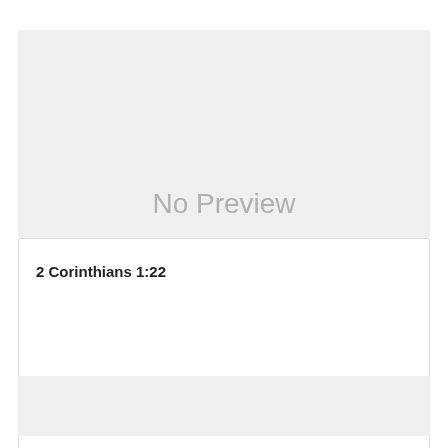[Figure (other): Gray placeholder box indicating no preview available, with 'No Preview' text centered]
2 Corinthians 1:22
[Figure (other): Gray placeholder box at bottom of page]